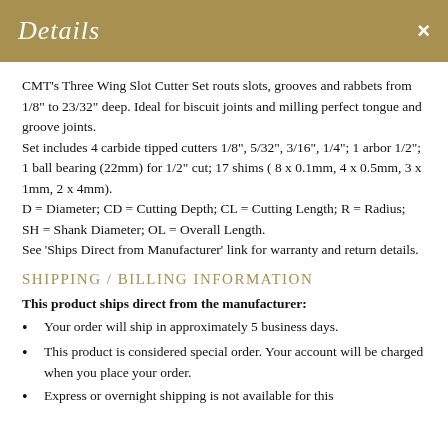Details ×
CMT's Three Wing Slot Cutter Set routs slots, grooves and rabbets from 1/8" to 23/32" deep. Ideal for biscuit joints and milling perfect tongue and groove joints.
Set includes 4 carbide tipped cutters 1/8", 5/32", 3/16", 1/4"; 1 arbor 1/2"; 1 ball bearing (22mm) for 1/2" cut; 17 shims ( 8 x 0.1mm, 4 x 0.5mm, 3 x 1mm, 2 x 4mm).
D = Diameter; CD = Cutting Depth; CL = Cutting Length; R = Radius; SH = Shank Diameter; OL = Overall Length.
See 'Ships Direct from Manufacturer' link for warranty and return details.
SHIPPING / BILLING INFORMATION
This product ships direct from the manufacturer:
Your order will ship in approximately 5 business days.
This product is considered special order. Your account will be charged when you place your order.
Express or overnight shipping is not available for this